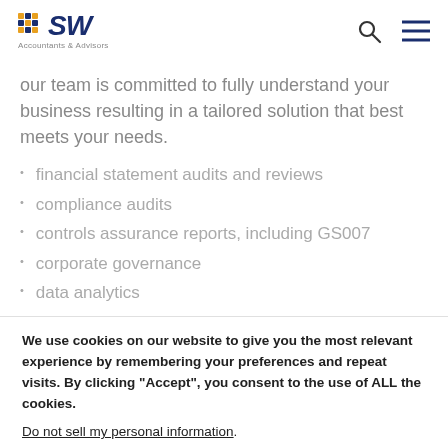SW Accountants & Advisors
our team is committed to fully understand your business resulting in a tailored solution that best meets your needs.
financial statement audits and reviews
compliance audits
controls assurance reports, including GS007
corporate governance
data analytics
We use cookies on our website to give you the most relevant experience by remembering your preferences and repeat visits. By clicking “Accept”, you consent to the use of ALL the cookies.
Do not sell my personal information.